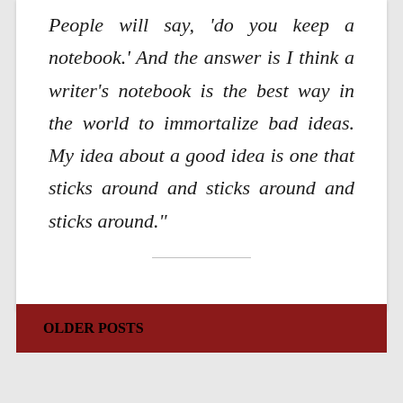People will say, 'do you keep a notebook.' And the answer is I think a writer's notebook is the best way in the world to immortalize bad ideas. My idea about a good idea is one that sticks around and sticks around and sticks around."
OLDER POSTS